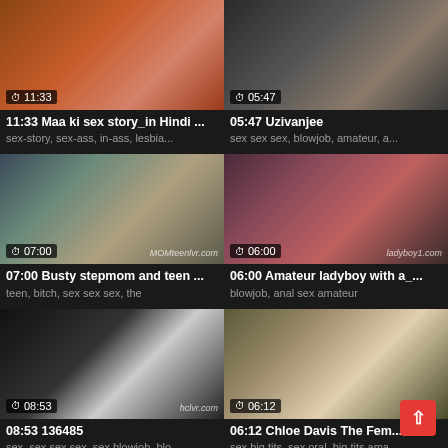[Figure (screenshot): Video thumbnail grid showing 6 video cards in 2 columns with thumbnails, durations, titles, and tags]
11:33 Maa ki sex story_in Hindi ...
sex-story, sex-ass, in-ass, lesbia...
05:47 Uzivanjee
sex sex sex, blowjob, amateur, a...
07:00 Busty stepmom and teen ...
teen, bitch, sex sex sex, the
06:00 Amateur ladyboy with a_...
blowjob, anal sex amateur
08:53 136485
sex, sex sex sex, sex blowjob, blo...
06:12 Chloe Davis The Fem...
sex big tits, sex oral, big tits ama...